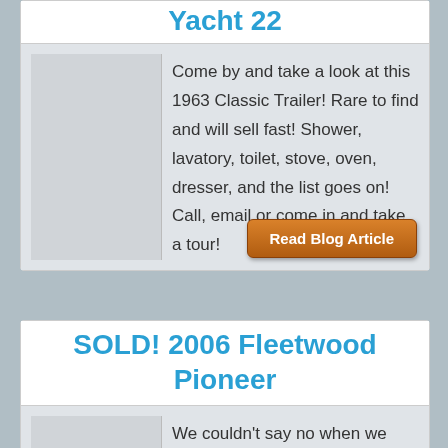Yacht 22
Come by and take a look at this 1963 Classic Trailer! Rare to find and will sell fast! Shower, lavatory, toilet, stove, oven, dresser, and the list goes on! Call, email or come in and take a tour!
Read Blog Article
SOLD! 2006 Fleetwood Pioneer
We couldn't say no when we were presented with helping this lovely loyal client sell their trailer.